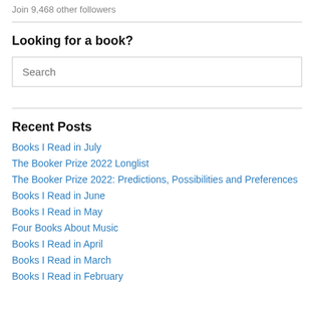Join 9,468 other followers
Looking for a book?
Search
Recent Posts
Books I Read in July
The Booker Prize 2022 Longlist
The Booker Prize 2022: Predictions, Possibilities and Preferences
Books I Read in June
Books I Read in May
Four Books About Music
Books I Read in April
Books I Read in March
Books I Read in February